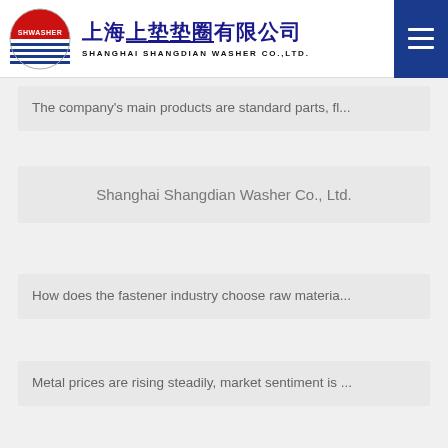Shanghai Shangdian Washer Co., Ltd. — SHWASHER — 上海上垫垫圈有限公司 SHANGHAI SHANGDIAN WASHER CO.,LTD.
The company's main products are standard parts, fl...
Shanghai Shangdian Washer Co., Ltd.
How does the fastener industry choose raw materia...
Metal prices are rising steadily, market sentiment is ...